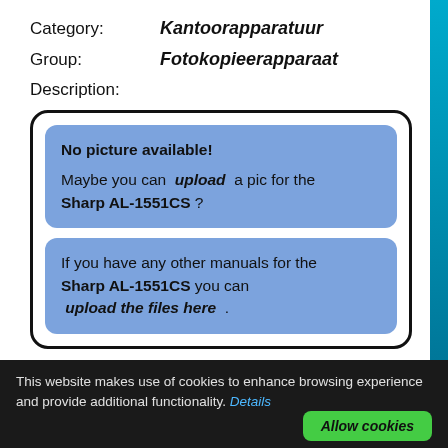Category: Kantoorapparatuur
Group: Fotokopieerapparaat
Description:
[Figure (screenshot): A white rounded box containing two blue rounded boxes. First box says 'No picture available! Maybe you can upload a pic for the Sharp AL-1551CS ?'. Second box says 'If you have any other manuals for the Sharp AL-1551CS you can upload the files here .']
This website makes use of cookies to enhance browsing experience and provide additional functionality. Details
Allow cookies